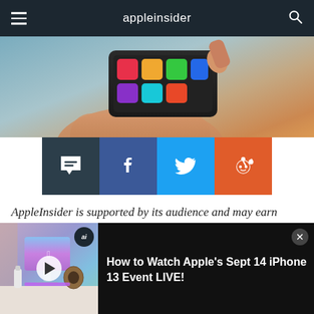appleinsider
[Figure (photo): Close-up photo of a hand holding a smartphone, finger touching the screen, colorful app tiles visible on the display, blurred background with warm tones.]
[Figure (infographic): Social sharing buttons row: comment/chat button (dark), Facebook button (blue), Twitter button (light blue), Reddit button (orange)]
AppleInsider is supported by its audience and may earn commission as an Amazon Associate and affiliate partner on qualifying purchases. These affiliate
[Figure (screenshot): Video player thumbnail showing Apple products on a desk (iMac, headphones, water bottle) with a play button overlay and 'ai' badge]
How to Watch Apple's Sept 14 iPhone 13 Event LIVE!